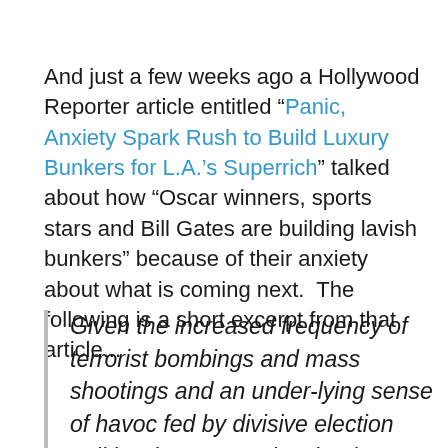And just a few weeks ago a Hollywood Reporter article entitled “Panic, Anxiety Spark Rush to Build Luxury Bunkers for L.A.’s Superrich” talked about how “Oscar winners, sports stars and Bill Gates are building lavish bunkers” because of their anxiety about what is coming next.  The following is a short excerpt from that article...
Given the increased frequency of terrorist bombings and mass shootings and an under-lying sense of havoc fed by divisive election politics, it’s no surprise that home